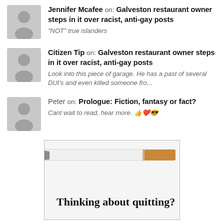Jennifer Mcafee on: Galveston restaurant owner steps in it over racist, anti-gay posts — "NOT" true islanders
Citizen Tip on: Galveston restaurant owner steps in it over racist, anti-gay posts — Look into this piece of garage. He has a past of several DUI's and even killed someone fro...
Peter on: Prologue: Fiction, fantasy or fact? — Cant wait to read, hear more. 👍❤️😎
[Figure (photo): Advertisement showing a cigarette with text 'Thinking about quitting?']